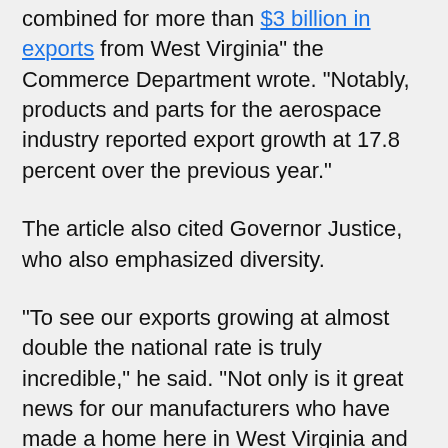combined for more than $3 billion in exports from West Virginia" the Commerce Department wrote. "Notably, products and parts for the aerospace industry reported export growth at 17.8 percent over the previous year."
The article also cited Governor Justice, who also emphasized diversity.
"To see our exports growing at almost double the national rate is truly incredible," he said. "Not only is it great news for our manufacturers who have made a home here in West Virginia and have seen their businesses grow because of it, but it is also wonderful to know that West